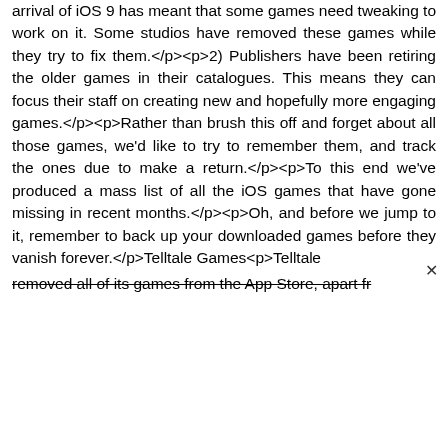arrival of iOS 9 has meant that some games need tweaking to work on it. Some studios have removed these games while they try to fix them.</p><p>2) Publishers have been retiring the older games in their catalogues. This means they can focus their staff on creating new and hopefully more engaging games.</p><p>Rather than brush this off and forget about all those games, we'd like to try to remember them, and track the ones due to make a return.</p><p>To this end we've produced a mass list of all the iOS games that have gone missing in recent months.</p><p>Oh, and before we jump to it, remember to back up your downloaded games before they vanish forever.</p>Telltale Games<p>Telltale removed all of its games from the App Store, apart fr